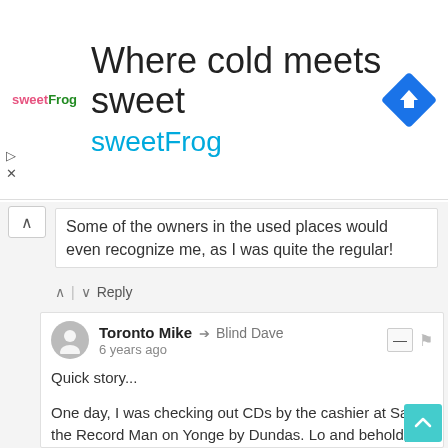[Figure (screenshot): SweetFrog advertisement banner with logo, tagline 'Where cold meets sweet', brand name 'sweetFrog', and a blue diamond navigation icon]
Some of the owners in the used places would even recognize me, as I was quite the regular!
Toronto Mike → Blind Dave
6 years ago

Quick story...

One day, I was checking out CDs by the cashier at Sam the Record Man on Yonge by Dundas. Lo and behold, Joe Carter came in, picked up a disc, and quickly checked out. I just stood there and watched as Joe (with his World Series ring on) walked by me.

I can't remember if this was before or after he touched 'em all in '93, but it was definitely after